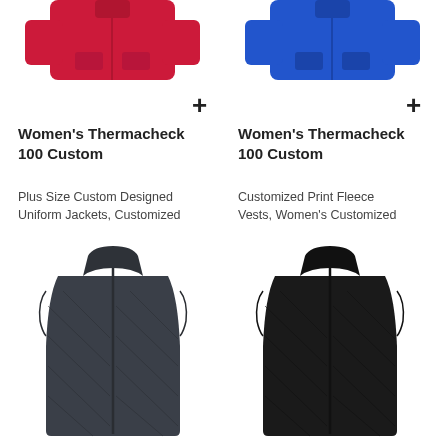[Figure (photo): Red women's fleece jacket top portion, cropped]
[Figure (photo): Blue women's fleece jacket top portion, cropped]
+
+
Women's Thermacheck 100 Custom
Plus Size Custom Designed Uniform Jackets, Customized
Women's Thermacheck 100 Custom
Customized Print Fleece Vests, Women's Customized
[Figure (photo): Dark gray quilted women's vest, full view]
[Figure (photo): Black quilted women's vest, full view]